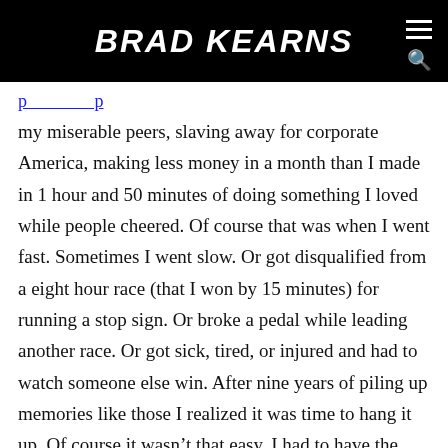BRAD KEARNS
my miserable peers, slaving away for corporate America, making less money in a month than I made in 1 hour and 50 minutes of doing something I loved while people cheered. Of course that was when I went fast. Sometimes I went slow. Or got disqualified from a eight hour race (that I won by 15 minutes) for running a stop sign. Or broke a pedal while leading another race. Or got sick, tired, or injured and had to watch someone else win. After nine years of piling up memories like those I realized it was time to hang it up. Of course it wasn't that easy. I had to have the concept of the “R” word beaten into my head from all sides for me to take notice and do something about it.